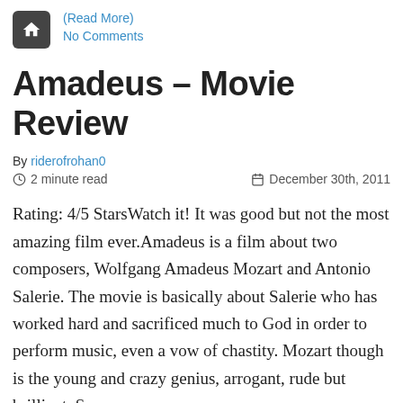(Read More)
No Comments
Amadeus – Movie Review
By riderofrohan0
2 minute read    December 30th, 2011
Rating: 4/5 StarsWatch it! It was good but not the most amazing film ever.Amadeus is a film about two composers, Wolfgang Amadeus Mozart and Antonio Salerie. The movie is basically about Salerie who has worked hard and sacrificed much to God in order to perform music, even a vow of chastity. Mozart though is the young and crazy genius, arrogant, rude but brilliant. So